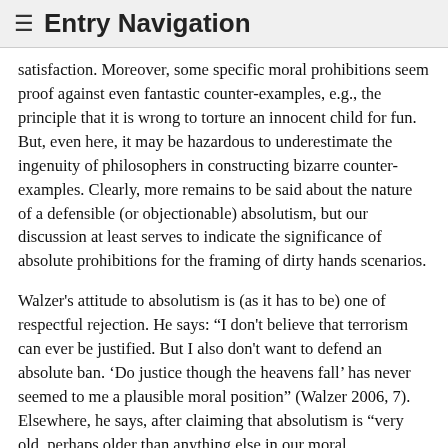≡ Entry Navigation
satisfaction. Moreover, some specific moral prohibitions seem proof against even fantastic counter-examples, e.g., the principle that it is wrong to torture an innocent child for fun. But, even here, it may be hazardous to underestimate the ingenuity of philosophers in constructing bizarre counter-examples. Clearly, more remains to be said about the nature of a defensible (or objectionable) absolutism, but our discussion at least serves to indicate the significance of absolute prohibitions for the framing of dirty hands scenarios.
Walzer's attitude to absolutism is (as it has to be) one of respectful rejection. He says: “I don't believe that terrorism can ever be justified. But I also don't want to defend an absolute ban. ‘Do justice though the heavens fall’ has never seemed to me a plausible moral position” (Walzer 2006, 7). Elsewhere, he says, after claiming that absolutism is “very old, perhaps older than anything else in our moral understanding”, that at the point of disaster or supreme emergency “absolutism represents, it seems to me, a refusal to think about what it means for the heavens